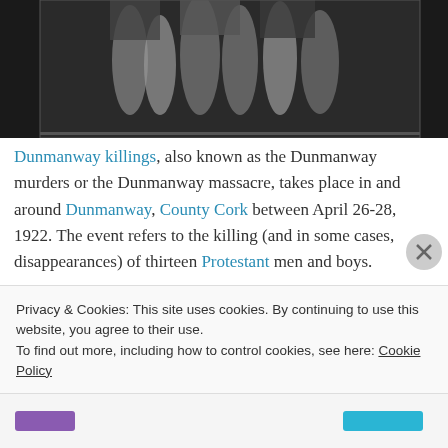[Figure (photo): Black and white historical photograph showing people's legs/lower bodies]
Dunmanway killings, also known as the Dunmanway murders or the Dunmanway massacre, takes place in and around Dunmanway, County Cork between April 26-28, 1922. The event refers to the killing (and in some cases, disappearances) of thirteen Protestant men and boys.
The killings happen in a period of truce after the July 1921 end of the Irish War of Independence and before the outbreak of the Irish Civil War in June 1922. All the dead and missing are Protestants, which has led to the killings
Privacy & Cookies: This site uses cookies. By continuing to use this website, you agree to their use.
To find out more, including how to control cookies, see here: Cookie Policy
Close and accept